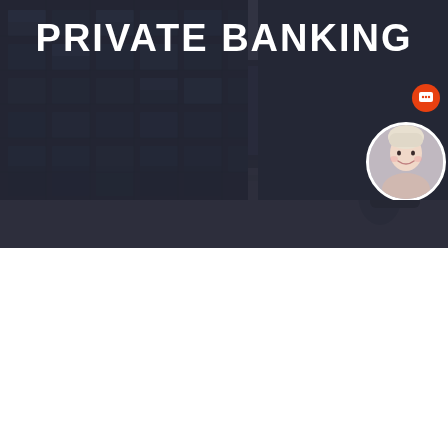[Figure (photo): Dark hero banner with laptop on desk, overlaid with semi-transparent dark overlay. 'PRIVATE BANKING' text in large white bold letters overlaid on top.]
PRIVATE BANKING
[Figure (photo): Bottom left: photo of dark glass building facade with reflective windows arranged in grid pattern.]
[Figure (screenshot): Chatbot popup bubble on the right side reading: 'Hello 👋 I'm the website chatbot! Got questions? Chat with us.' with a close button (x). Below it partial text 'P...' 'BANKI...' 'FOR TH...' 'WORLD'S' visible in white bold text on dark background. A circular avatar of a smiling blonde woman and an orange chat icon are visible.]
Hello 👋 I'm the website chatbot! Got questions? Chat with us.
P
BANKING
FOR TH
WORLD'S